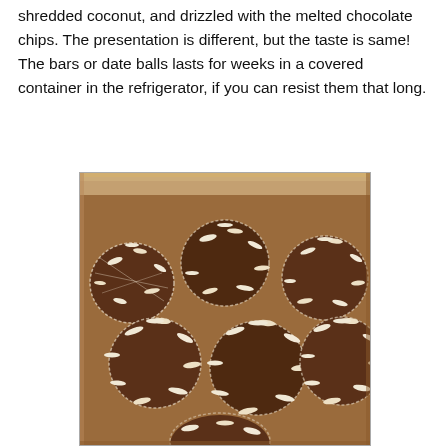shredded coconut, and drizzled with the melted chocolate chips. The presentation is different, but the taste is same! The bars or date balls lasts for weeks in a covered container in the refrigerator, if you can resist them that long.
[Figure (photo): Photo of coconut-covered date balls piled in a glass baking dish, showing round balls coated in shredded coconut with a dark chocolate interior visible.]